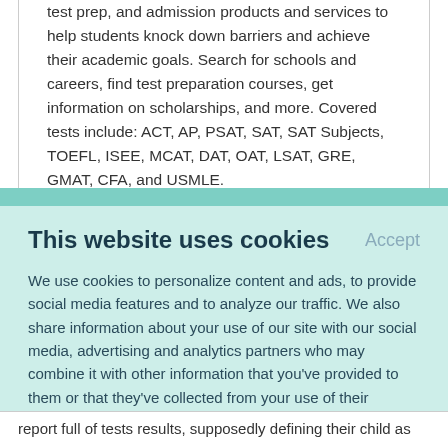test prep, and admission products and services to help students knock down barriers and achieve their academic goals. Search for schools and careers, find test preparation courses, get information on scholarships, and more. Covered tests include: ACT, AP, PSAT, SAT, SAT Subjects, TOEFL, ISEE, MCAT, DAT, OAT, LSAT, GRE, GMAT, CFA, and USMLE.
This website uses cookies
Accept
We use cookies to personalize content and ads, to provide social media features and to analyze our traffic. We also share information about your use of our site with our social media, advertising and analytics partners who may combine it with other information that you've provided to them or that they've collected from your use of their services.
Learn More.
report full of tests results, supposedly defining their child as